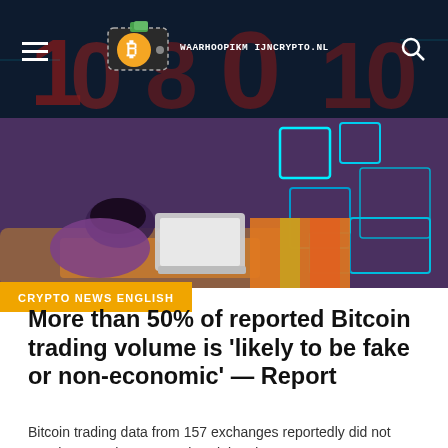WAARHOOPIKM IJNCRYPTO.NL
[Figure (illustration): Illustration of a person lying down working on a laptop, with neon blue geometric shapes in the background — crypto/tech themed artwork.]
CRYPTO NEWS ENGLISH
More than 50% of reported Bitcoin trading volume is ‘likely to be fake or non-economic’ — Report
Bitcoin trading data from 157 exchanges reportedly did not match up to what companies claimed.